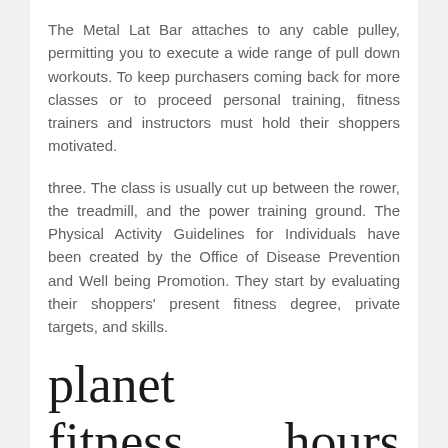The Metal Lat Bar attaches to any cable pulley, permitting you to execute a wide range of pull down workouts. To keep purchasers coming back for more classes or to proceed personal training, fitness trainers and instructors must hold their shoppers motivated.
three. The class is usually cut up between the rower, the treadmill, and the power training ground. The Physical Activity Guidelines for Individuals have been created by the Office of Disease Prevention and Well being Promotion. They start by evaluating their shoppers' present fitness degree, private targets, and skills.
planet fitness hours maui
Group fitness instructors arrange and lead group exercise sessions, which can embrace aerobic